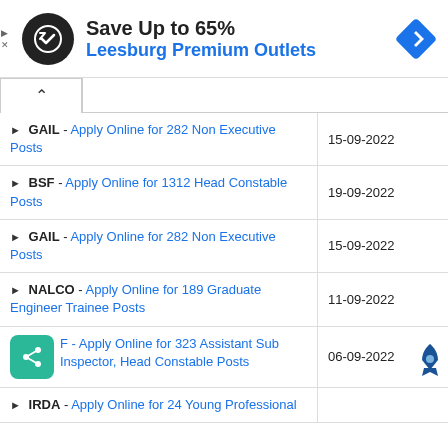[Figure (infographic): Ad banner: black circular logo with arrows icon, 'Save Up to 65%' in bold black, 'Leesburg Premium Outlets' in blue, blue diamond navigation icon on right]
GAIL - Apply Online for 282 Non Executive Posts | 15-09-2022
BSF - Apply Online for 1312 Head Constable Posts | 19-09-2022
GAIL - Apply Online for 282 Non Executive Posts | 15-09-2022
NALCO - Apply Online for 189 Graduate Engineer Trainee Posts | 11-09-2022
BSF - Apply Online for 323 Assistant Sub Inspector, Head Constable Posts | 06-09-2022
IRDA - Apply Online for 24 Young Professional